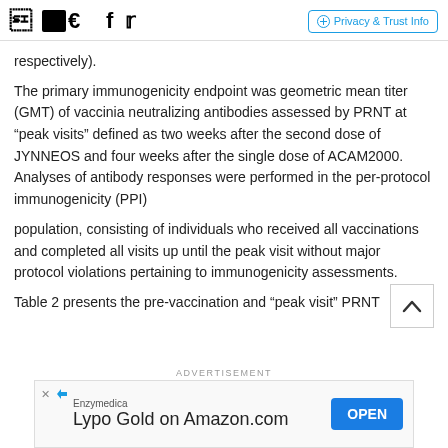Social icons (Facebook, Twitter) | Privacy & Trust Info
respectively).
The primary immunogenicity endpoint was geometric mean titer (GMT) of vaccinia neutralizing antibodies assessed by PRNT at “peak visits” defined as two weeks after the second dose of JYNNEOS and four weeks after the single dose of ACAM2000. Analyses of antibody responses were performed in the per-protocol immunogenicity (PPI)
population, consisting of individuals who received all vaccinations and completed all visits up until the peak visit without major protocol violations pertaining to immunogenicity assessments.
Table 2 presents the pre-vaccination and “peak visit” PRNT